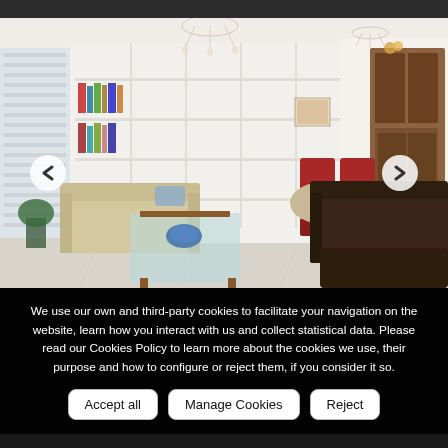[Figure (photo): Interior photo of a living room with cream sofas, a glass coffee table on a wooden base, dark leather armchairs, white built-in bookshelves, a dining area with red chairs and wooden china cabinet, and a crystal chandelier. Navigation arrows on left and right sides of image.]
We use our own and third-party cookies to facilitate your navigation on the website, learn how you interact with us and collect statistical data. Please read our Cookies Policy to learn more about the cookies we use, their purpose and how to configure or reject them, if you consider it so.
Accept all | Manage Cookies | Reject